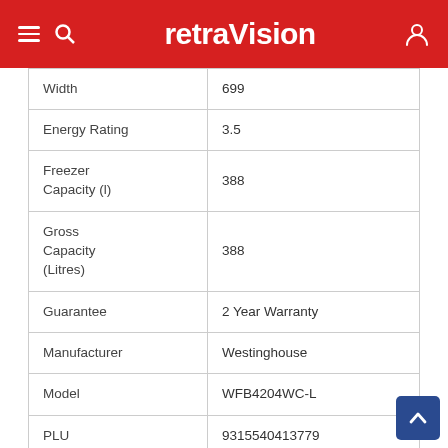retraVision
| Attribute | Value |
| --- | --- |
| Width | 699 |
| Energy Rating | 3.5 |
| Freezer Capacity (l) | 388 |
| Gross Capacity (Litres) | 388 |
| Guarantee | 2 Year Warranty |
| Manufacturer | Westinghouse |
| Model | WFB4204WC-L |
| PLU | 9315540413779 |
| SKU | WESTIN/WFB4204WCL |
| Depth (mm) | 769 |